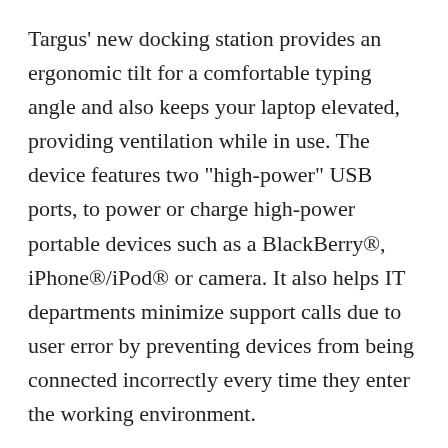Targus' new docking station provides an ergonomic tilt for a comfortable typing angle and also keeps your laptop elevated, providing ventilation while in use. The device features two "high-power" USB ports, to power or charge high-power portable devices such as a BlackBerry®, iPhone®/iPod® or camera. It also helps IT departments minimize support calls due to user error by preventing devices from being connected incorrectly every time they enter the working environment.
"Our newest docking station offers enhanced connectivity, which improves efficiency and the overall user experience with the ability to